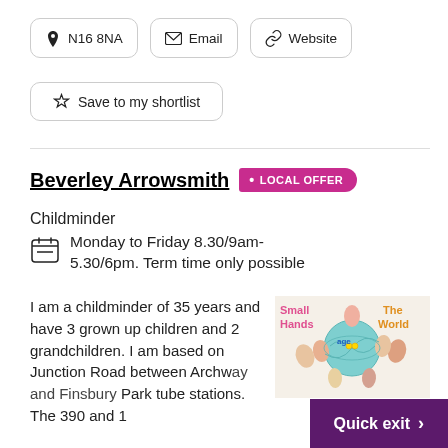N16 8NA
Email
Website
Save to my shortlist
Beverley Arrowsmith • LOCAL OFFER
Childminder
Monday to Friday 8.30/9am-5.30/6pm. Term time only possible
I am a childminder of 35 years and have 3 grown up children and 2 grandchildren. I am based on Junction Road between Archway and Finsbury Park tube stations. The 390 and 13...
[Figure (photo): Colourful children's artwork showing handprints arranged around a globe with the text 'Small Hands Change The World']
Quick exit >